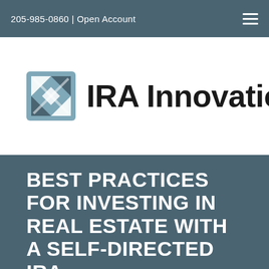205-985-0860 | Open Account
[Figure (logo): IRA Innovations logo with stylized arrow icon and text 'IRA Innovations']
BEST PRACTICES FOR INVESTING IN REAL ESTATE WITH A SELF-DIRECTED IRA